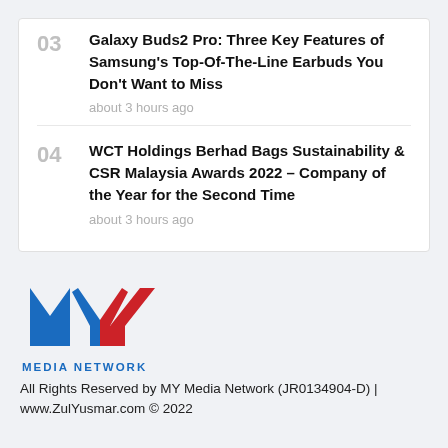03 Galaxy Buds2 Pro: Three Key Features of Samsung's Top-Of-The-Line Earbuds You Don't Want to Miss
about 3 hours ago
04 WCT Holdings Berhad Bags Sustainability & CSR Malaysia Awards 2022 – Company of the Year for the Second Time
about 3 hours ago
[Figure (logo): MY Media Network logo with stylized M and Y letters in blue and red, with text MEDIA NETWORK below in blue]
All Rights Reserved by MY Media Network (JR0134904-D) | www.ZulYusmar.com © 2022